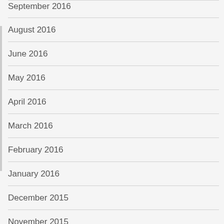September 2016
August 2016
June 2016
May 2016
April 2016
March 2016
February 2016
January 2016
December 2015
November 2015
October 2015